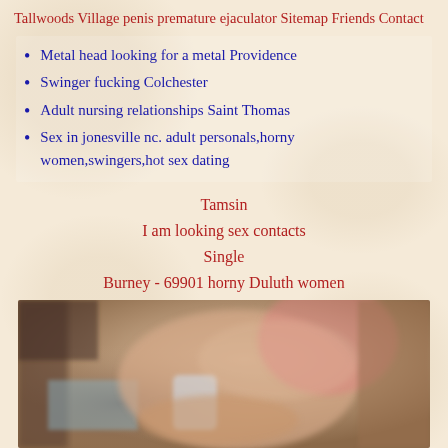Tallwoods Village penis premature ejaculator Sitemap Friends Contact
Metal head looking for a metal Providence
Swinger fucking Colchester
Adult nursing relationships Saint Thomas
Sex in jonesville nc. adult personals,horny women,swingers,hot sex dating
Tamsin
I am looking sex contacts
Single
Burney - 69901 horny Duluth women
[Figure (photo): Blurred photo of a person holding a cup, wearing pink clothing, partial view]